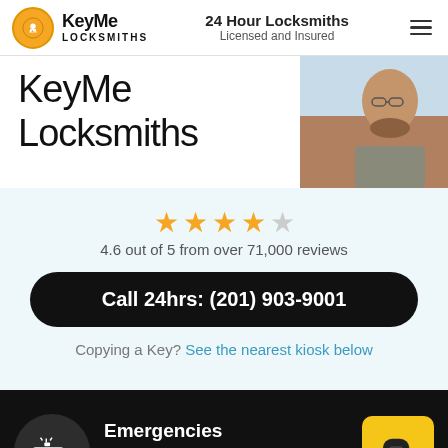KeyMe Locksmiths | 24 Hour Locksmiths Licensed and Insured
KeyMe Locksmiths
[Figure (photo): Photo of a man with glasses and beard looking down]
4.6 out of 5 from over 71,000 reviews
Call 24hrs: (201) 903-9001
Copying a Key? See the nearest kiosk below
Emergencies
Average arrival time is 29 minutes
Call now: (201) 903-9001